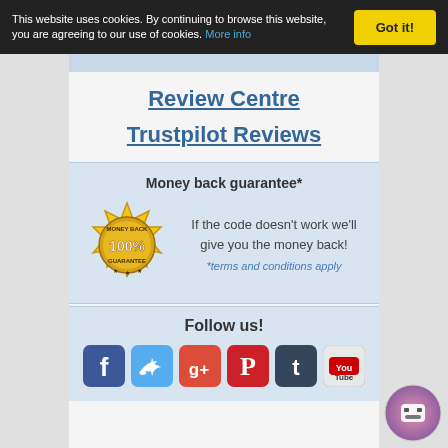This website uses cookies. By continuing to browse this website, you are agreeing to our use of cookies. More info
Got it!
Review Centre
Trustpilot Reviews
Money back guarantee*
[Figure (logo): Gold 100% Money Back Guarantee badge/seal]
If the code doesn't work we'll give you the money back!
*terms and conditions apply
Follow us!
[Figure (logo): Social media icons: Facebook, Twitter, Google+, Pinterest, Tumblr, YouTube]
[Figure (logo): Chat robot icon in bottom right corner]